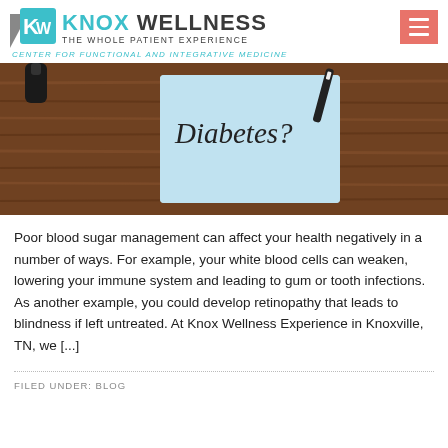[Figure (logo): Knox Wellness logo with stylized KW icon, text 'KNOX WELLNESS THE WHOLE PATIENT EXPERIENCE' and tagline 'CENTER FOR FUNCTIONAL AND INTEGRATIVE MEDICINE']
[Figure (photo): A blue sticky note with 'Diabetes?' written on it, a pen nearby, on a wooden table background]
Poor blood sugar management can affect your health negatively in a number of ways. For example, your white blood cells can weaken, lowering your immune system and leading to gum or tooth infections. As another example, you could develop retinopathy that leads to blindness if left untreated. At Knox Wellness Experience in Knoxville, TN, we [...]
FILED UNDER: BLOG